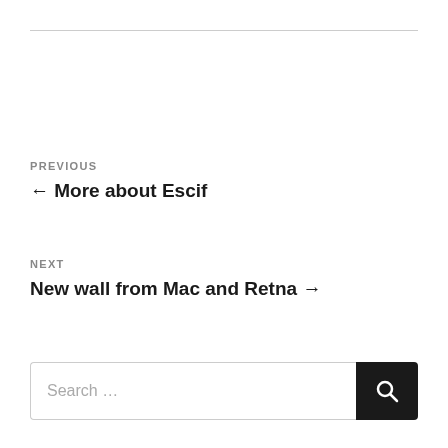PREVIOUS
← More about Escif
NEXT
New wall from Mac and Retna →
Search ...